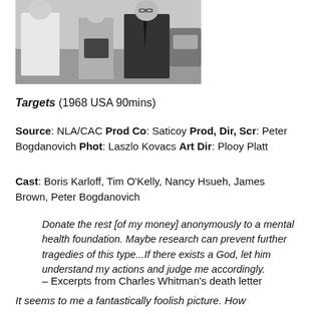[Figure (photo): Black and white photograph showing three people — a man in white on the left, a woman in the middle, and a man in a suit and glasses on the right — appearing to be outdoors near a vehicle.]
Targets (1968 USA 90mins)
Source: NLA/CAC Prod Co: Saticoy Prod, Dir, Scr: Peter Bogdanovich Phot: Laszlo Kovacs Art Dir: Plooy Platt
Cast: Boris Karloff, Tim O'Kelly, Nancy Hsueh, James Brown, Peter Bogdanovich
Donate the rest [of my money] anonymously to a mental health foundation. Maybe research can prevent further tragedies of this type...If there exists a God, let him understand my actions and judge me accordingly.
– Excerpts from Charles Whitman's death letter
It seems to me a fantastically foolish picture. How